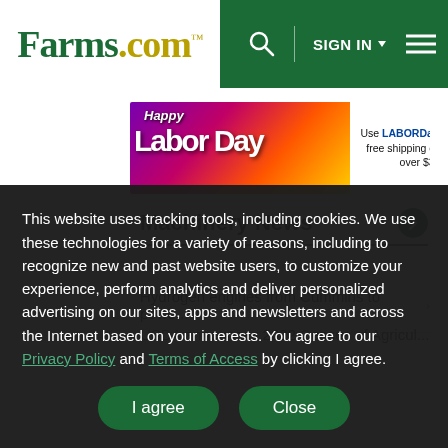Farms.com™ | SIGN IN | Menu
[Figure (infographic): Banner advertisement: Happy Labor Day promotion - Use LABORDay30 to get free shipping on orders over $30. US Farmer shop.usfarmer.com logo on dark blue background.]
Machinery News
Hydrogen engines from Cummins to powe... ›
USDA announces 2022 Census of Agricul...
This website uses tracking tools, including cookies. We use these technologies for a variety of reasons, including to recognize new and past website users, to customize your experience, perform analytics and deliver personalized advertising on our sites, apps and newsletters and across the Internet based on your interests. You agree to our Privacy Policy and Terms of Access by clicking I agree.
I agree | Close